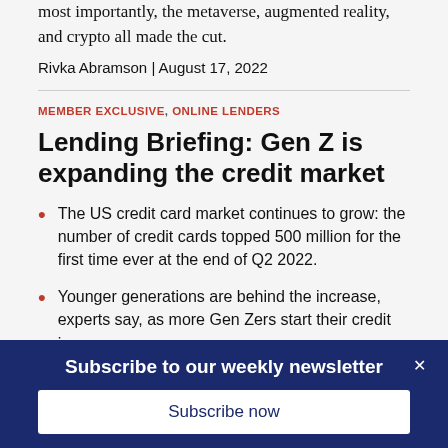most importantly, the metaverse, augmented reality, and crypto all made the cut.
Rivka Abramson | August 17, 2022
MEMBER EXCLUSIVE, ONLINE LENDERS
Lending Briefing: Gen Z is expanding the credit market
The US credit card market continues to grow: the number of credit cards topped 500 million for the first time ever at the end of Q2 2022.
Younger generations are behind the increase, experts say, as more Gen Zers start their credit journeys.
Subscribe to our weekly newsletter
Subscribe now